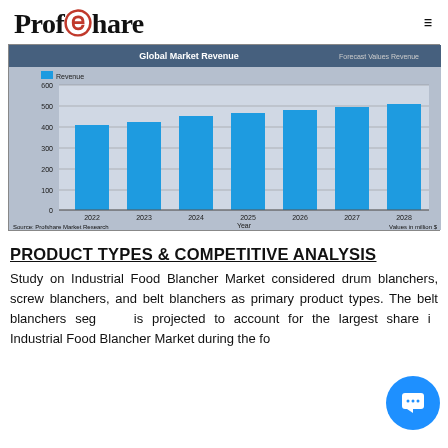ProfShare
[Figure (bar-chart): Global Market Revenue]
PRODUCT TYPES & COMPETITIVE ANALYSIS
Study on Industrial Food Blancher Market considered drum blanchers, screw blanchers, and belt blanchers as primary product types. The belt blanchers segment is projected to account for the largest share in Industrial Food Blancher Market during the forecast